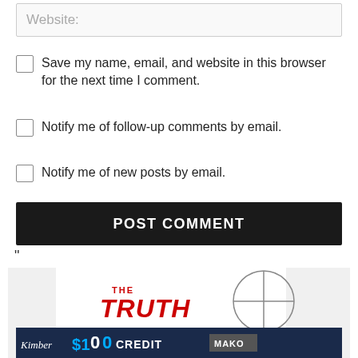Website:
Save my name, email, and website in this browser for the next time I comment.
Notify me of follow-up comments by email.
Notify me of new posts by email.
POST COMMENT
[Figure (logo): The Truth About Guns logo with crosshair graphic and red bold text]
[Figure (other): Advertisement banner with $100 CREDIT and MAKO branding on dark background]